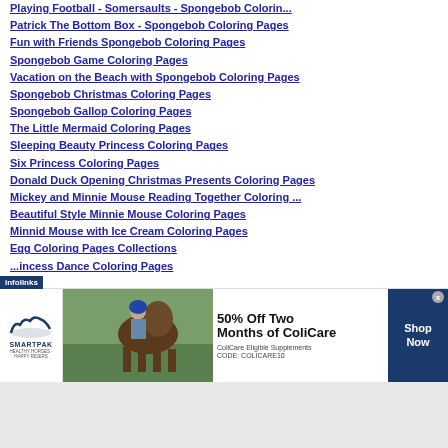Playing Football - Somersaults - Spongebob Colorin...
Patrick The Bottom Box - Spongebob Coloring Pages
Fun with Friends Spongebob Coloring Pages
Spongebob Game Coloring Pages
Vacation on the Beach with Spongebob Coloring Pages
Spongebob Christmas Coloring Pages
Spongebob Gallop Coloring Pages
The Little Mermaid Coloring Pages
Sleeping Beauty Princess Coloring Pages
Six Princess Coloring Pages
Donald Duck Opening Christmas Presents Coloring Pages
Mickey and Minnie Mouse Reading Together Coloring ...
Beautiful Style Minnie Mouse Coloring Pages
Minnid Mouse with Ice Cream Coloring Pages
Egg Coloring Pages Collections
...incess Dance Coloring Pages
[Figure (screenshot): SmartPak advertisement banner: 50% Off Two Months of ColiCare, ColiCare Eligible Supplements, CODE: COLICARE10, Shop Now button, with horse photo and infolinks badge]